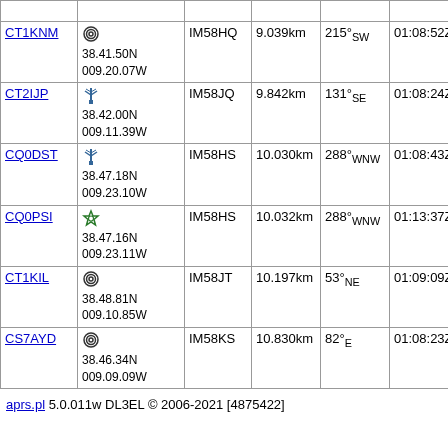| Call | Position | Grid | Dist | Bearing | Time | Info |
| --- | --- | --- | --- | --- | --- | --- |
|  |  |  |  |  |  | 433 |
| CT1KNM | 38.41.50N 009.20.07W | IM58HQ | 9.039km | 215°SW | 01:08:52Z | MM 433 |
| CT2IJP | 38.42.00N 009.11.39W | IM58JQ | 9.842km | 131°SE | 01:08:24Z | MM 440 |
| CQ0DST | 38.47.18N 009.23.10W | IM58HS | 10.030km | 288°WNW | 01:08:43Z | Sint Port othe 438 |
| CQ0PSI | 38.47.16N 009.23.11W | IM58HS | 10.032km | 288°WNW | 01:13:37Z | DIC - Ne Con |
| CT1KIL | 38.48.81N 009.10.85W | IM58JT | 10.197km | 53°NE | 01:09:09Z | MM 433 |
| CS7AYD | 38.46.34N 009.09.09W | IM58KS | 10.830km | 82°E | 01:08:23Z | MM 433 1) |
aprs.pl 5.0.011w DL3EL © 2006-2021 [4875422]